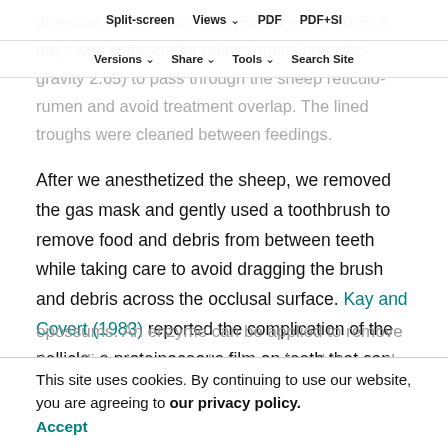Split-screen  Views  PDF  PDF+SI  Versions  Share  Tools  Search Site
digestive tracts within 72 h (Bistov et al., 2005; 5 days was sufficient for quartz grains (specific gravity 2.65) to pass through the sheep reticulo-rumen and avoid treatment overlap. The lined troughs were cleaned between feedings.
After we anesthetized the sheep, we removed the gas mask and gently used a toothbrush to remove food and debris from between teeth while taking care to avoid dragging the brush and debris across the occlusal surface. Kay and Covert (1983) reported the complication of the pellicle, a proteinaceous film on teeth that can obscure dental impressions, in their live feeding trials with opossums. An enzyme can be applied to remove the pellicle; however, abrasives also obliterate the film. We therefore molded the teeth within a few hours of the most recent feeding to avoid the re-growth of the pellicle. After
This site uses cookies. By continuing to use our website, you are agreeing to our privacy policy. Accept